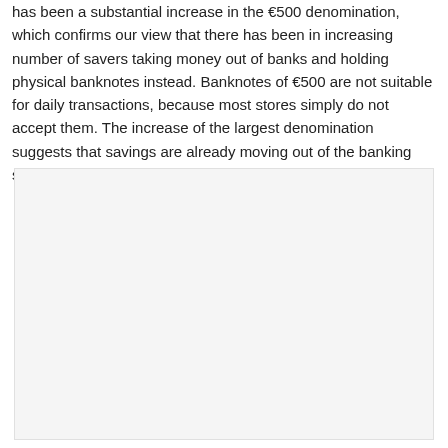has been a substantial increase in the €500 denomination, which confirms our view that there has been in increasing number of savers taking money out of banks and holding physical banknotes instead. Banknotes of €500 are not suitable for daily transactions, because most stores simply do not accept them. The increase of the largest denomination suggests that savings are already moving out of the banking system in increasing amounts.
[Figure (other): A mostly blank/empty chart or figure area with light gray background, contents not visible.]